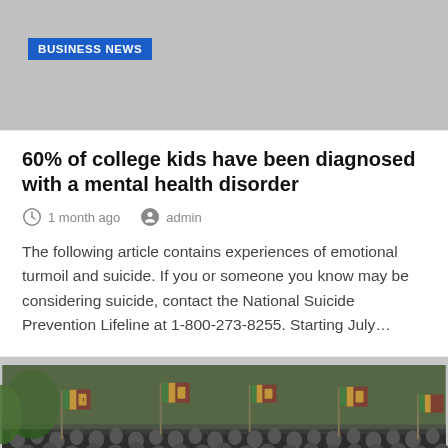BUSINESS NEWS
60% of college kids have been diagnosed with a mental health disorder
1 month ago   admin
The following article contains experiences of emotional turmoil and suicide. If you or someone you know may be considering suicide, contact the National Suicide Prevention Lifeline at 1-800-273-8255. Starting July…
[Figure (photo): Large crowd of people holding Sri Lanka flags at a public gathering or protest]